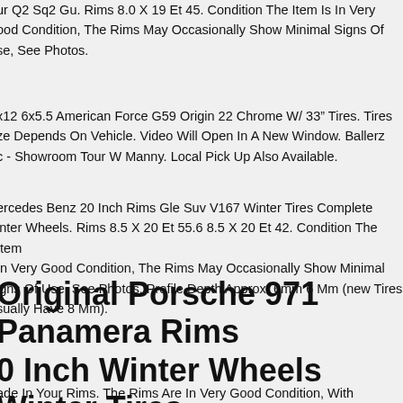ur Q2 Sq2 Gu. Rims 8.0 X 19 Et 45. Condition The Item Is In Very Good Condition, The Rims May Occasionally Show Minimal Signs Of Use, See Photos.
x12 6x5.5 American Force G59 Origin 22 Chrome W/ 33" Tires. Tires ze Depends On Vehicle. Video Will Open In A New Window. Ballerz c - Showroom Tour W Manny. Local Pick Up Also Available.
ercedes Benz 20 Inch Rims Gle Suv V167 Winter Tires Complete inter Wheels. Rims 8.5 X 20 Et 55.6 8.5 X 20 Et 42. Condition The Item In Very Good Condition, The Rims May Occasionally Show Minimal igns Of Use, See Photos. Profile Depth Approx. 6mm 6 Mm (new Tires sually Have 8 Mm).
Original Porsche 971 Panamera Rims 20 Inch Winter Wheels Winter Tires Platinum
ade In Your Rims. The Rims Are In Very Good Condition, With